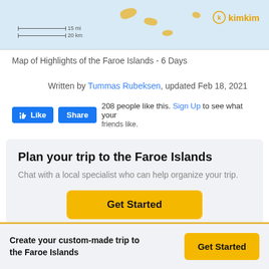[Figure (map): Map of Faroe Islands with scale bars (15 mi / 20 km) and kimkim logo in top right. Gold island blobs visible on light blue ocean background.]
Map of Highlights of the Faroe Islands - 6 Days
Written by Tummas Rubeksen, updated Feb 18, 2021
208 people like this. Sign Up to see what your friends like.
Plan your trip to the Faroe Islands
Chat with a local specialist who can help organize your trip.
Get Started
Create your custom-made trip to the Faroe Islands
Get Started